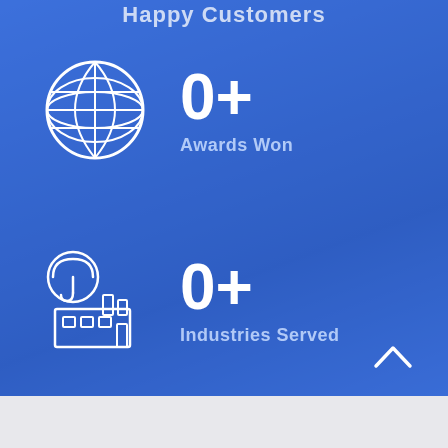Happy Customers
[Figure (infographic): Globe/world icon in white outline style]
0+
Awards Won
[Figure (infographic): Insurance/industry factory icon in white outline style]
0+
Industries Served